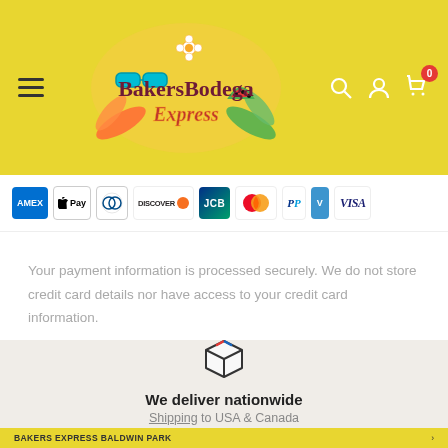BakersBodega Express
[Figure (logo): BakersBodega Express logo with tropical summer theme (sunglasses, watermelon, flowers, palm leaves)]
[Figure (infographic): Payment method icons: Amex, Apple Pay, Diners Club, Discover, JCB, Mastercard, PayPal, Venmo, Visa]
Your payment information is processed securely. We do not store credit card details nor have access to your credit card information.
[Figure (illustration): Box/package icon representing nationwide delivery]
We deliver nationwide
Shipping to USA & Canada
BAKERS EXPRESS BALDWIN PARK